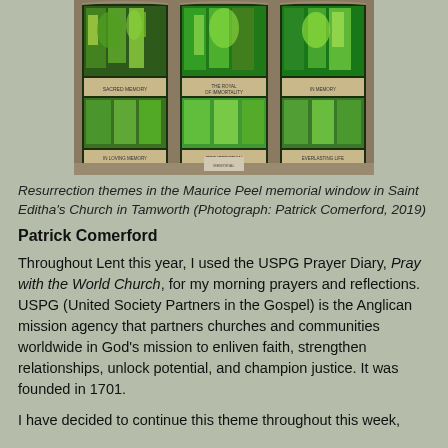[Figure (photo): Stained glass window showing resurrection themes — the Maurice Peel memorial window in Saint Editha's Church in Tamworth]
Resurrection themes in the Maurice Peel memorial window in Saint Editha's Church in Tamworth (Photograph: Patrick Comerford, 2019)
Patrick Comerford
Throughout Lent this year, I used the USPG Prayer Diary, Pray with the World Church, for my morning prayers and reflections. USPG (United Society Partners in the Gospel) is the Anglican mission agency that partners churches and communities worldwide in God's mission to enliven faith, strengthen relationships, unlock potential, and champion justice. It was founded in 1701.
I have decided to continue this theme throughout this week,